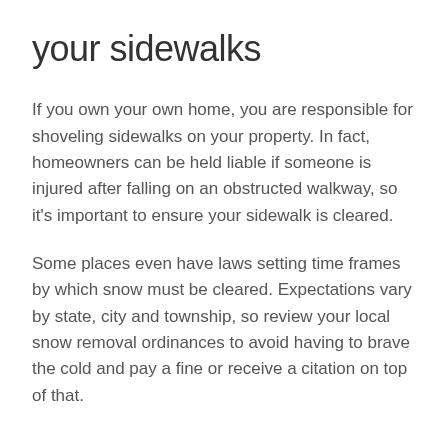your sidewalks
If you own your own home, you are responsible for shoveling sidewalks on your property. In fact, homeowners can be held liable if someone is injured after falling on an obstructed walkway, so it's important to ensure your sidewalk is cleared.
Some places even have laws setting time frames by which snow must be cleared. Expectations vary by state, city and township, so review your local snow removal ordinances to avoid having to brave the cold and pay a fine or receive a citation on top of that.